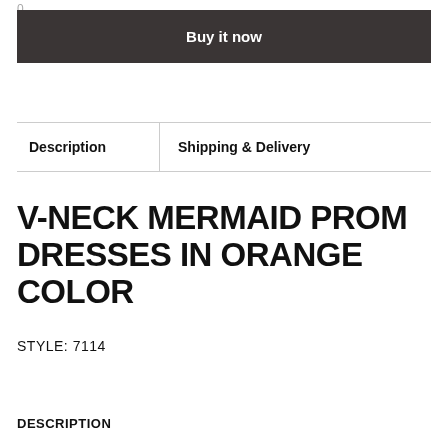0
Buy it now
| Description | Shipping & Delivery |
| --- | --- |
V-NECK MERMAID PROM DRESSES IN ORANGE COLOR
STYLE: 7114
DESCRIPTION